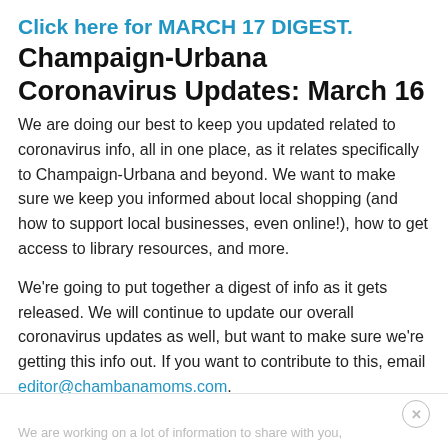Click here for MARCH 17 DIGEST.
Champaign-Urbana Coronavirus Updates: March 16
We are doing our best to keep you updated related to coronavirus info, all in one place, as it relates specifically to Champaign-Urbana and beyond. We want to make sure we keep you informed about local shopping (and how to support local businesses, even online!), how to get access to library resources, and more.
We're going to put together a digest of info as it gets released. We will continue to update our overall coronavirus updates as well, but want to make sure we're getting this info out. If you want to contribute to this, email editor@chambanamoms.com.
We are working on a lot of information to share with you,